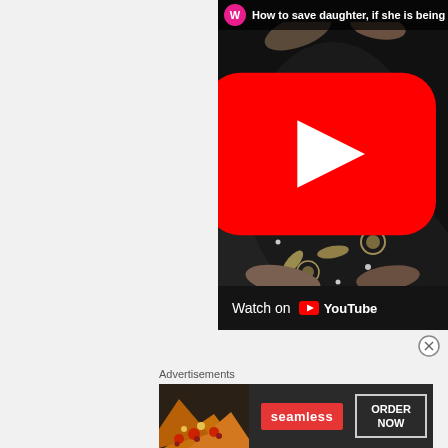[Figure (screenshot): YouTube video embed showing a dark embroidered/beaded garment (dupatta/veil) being placed over a person's head. Top bar shows a pink channel icon with 'W' and partial title 'How to save daughter, if she is being s'. YouTube red play button in center-right. Bottom bar shows 'Watch on YouTube' with YouTube logo.]
[Figure (infographic): Advertisement banner for Seamless food delivery. Shows pizza on left, red 'seamless' button in center, and 'ORDER NOW' button with rectangular border on right.]